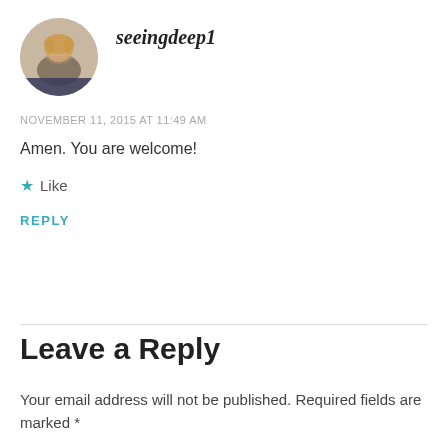[Figure (photo): Circular avatar photo of a smiling blonde woman]
seeingdeep1
NOVEMBER 11, 2015 AT 11:49 AM
Amen. You are welcome!
★ Like
REPLY
Leave a Reply
Your email address will not be published. Required fields are marked *